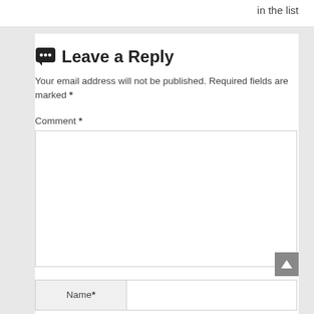in the list
Leave a Reply
Your email address will not be published. Required fields are marked *
Comment *
[Figure (other): Empty comment textarea input box with resize handle]
Name *
Email *